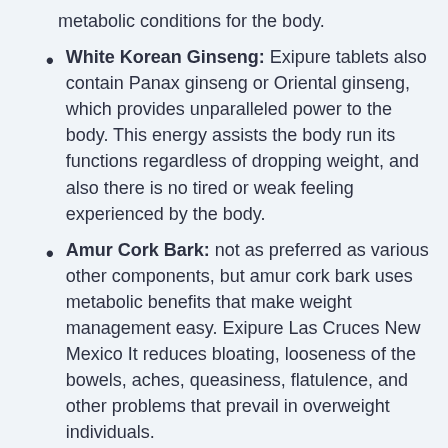metabolic conditions for the body.
White Korean Ginseng: Exipure tablets also contain Panax ginseng or Oriental ginseng, which provides unparalleled power to the body. This energy assists the body run its functions regardless of dropping weight, and also there is no tired or weak feeling experienced by the body.
Amur Cork Bark: not as preferred as various other components, but amur cork bark uses metabolic benefits that make weight management easy. Exipure Las Cruces New Mexico It reduces bloating, looseness of the bowels, aches, queasiness, flatulence, and other problems that prevail in overweight individuals.
...